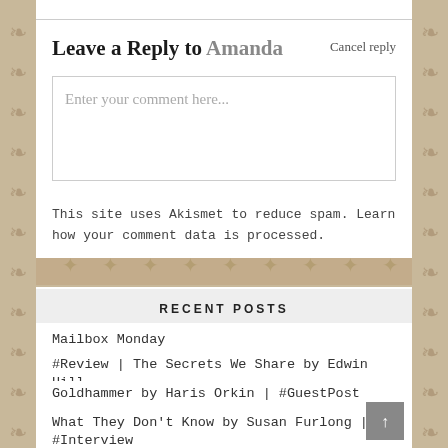Leave a Reply to Amanda   Cancel reply
Enter your comment here...
This site uses Akismet to reduce spam. Learn how your comment data is processed.
RECENT POSTS
Mailbox Monday
#Review | The Secrets We Share by Edwin Hill
Goldhammer by Haris Orkin | #GuestPost
What They Don't Know by Susan Furlong || #Interview